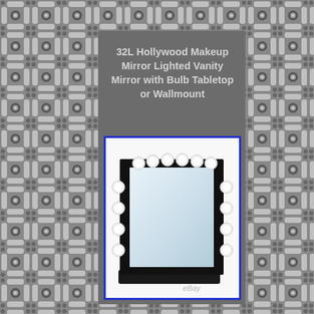[Figure (illustration): Decorative tiled background with repeating pattern of grey and white geometric/crystal-like shapes forming a mosaic texture across the entire page]
32L Hollywood Makeup Mirror Lighted Vanity Mirror with Bulb Tabletop or Wallmount
[Figure (photo): Product photo of a Hollywood-style lighted vanity makeup mirror with round light bulbs arranged along the top and both sides of a large rectangular mirror mounted on a black base stand, shown on white background with eBay watermark]